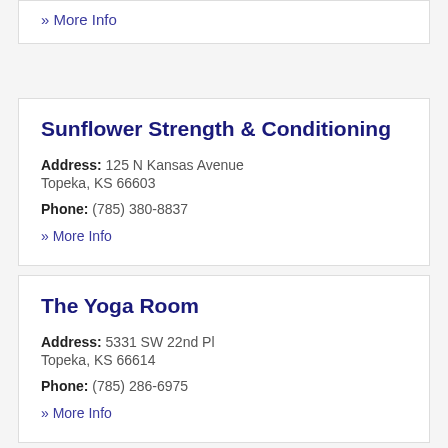» More Info
Sunflower Strength & Conditioning
Address: 125 N Kansas Avenue
Topeka, KS 66603
Phone: (785) 380-8837
» More Info
The Yoga Room
Address: 5331 SW 22nd Pl
Topeka, KS 66614
Phone: (785) 286-6975
» More Info